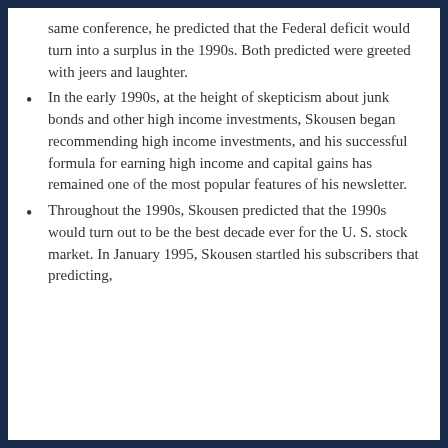same conference, he predicted that the Federal deficit would turn into a surplus in the 1990s. Both predicted were greeted with jeers and laughter.
In the early 1990s, at the height of skepticism about junk bonds and other high income investments, Skousen began recommending high income investments, and his successful formula for earning high income and capital gains has remained one of the most popular features of his newsletter.
Throughout the 1990s, Skousen predicted that the 1990s would turn out to be the best decade ever for the U. S. stock market. In January 1995, Skousen startled his subscribers that predicting,